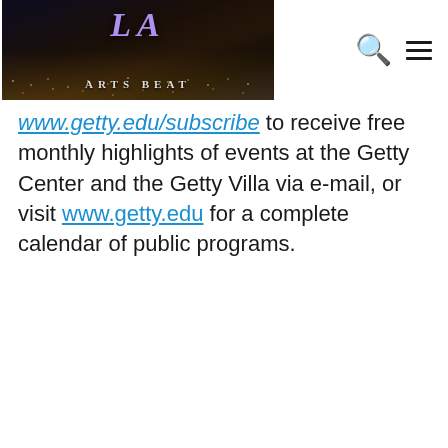LA Arts Beat — header with logo, search icon, and menu icon
www.getty.edu/subscribe to receive free monthly highlights of events at the Getty Center and the Getty Villa via e-mail, or visit www.getty.edu for a complete calendar of public programs.